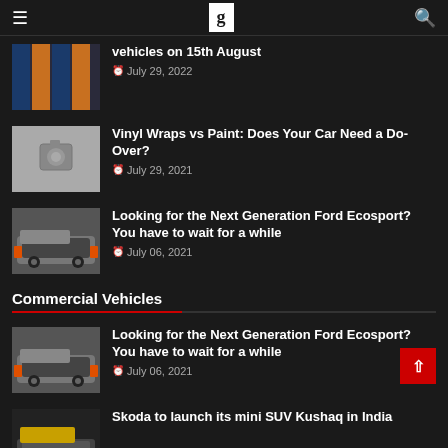≡  g  🔍
vehicles on 15th August | July 29, 2022
Vinyl Wraps vs Paint: Does Your Car Need a Do-Over? | July 29, 2021
Looking for the Next Generation Ford Ecosport? You have to wait for a while | July 06, 2021
Commercial Vehicles
Looking for the Next Generation Ford Ecosport? You have to wait for a while | July 06, 2021
Skoda to launch its mini SUV Kushaq in India